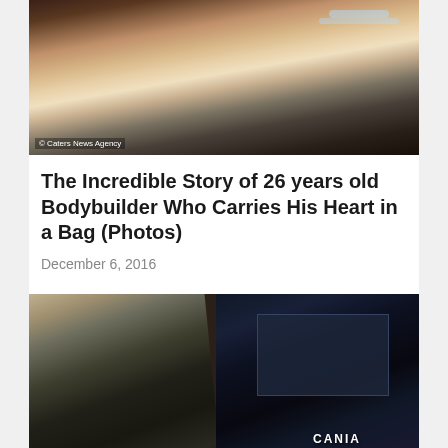[Figure (photo): Person in hospital bed connected to medical equipment and breathing tubes, with '© Caters News Agency' watermark]
The Incredible Story of 26 years old Bodybuilder Who Carries His Heart in a Bag (Photos)
December 6, 2016
[Figure (photo): Split image: left side shows armed militants in black clothing in a desert setting; right side shows a dark Scania truck with emergency responders]